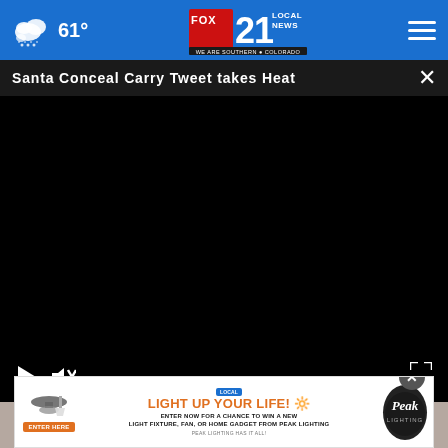61° FOX 21 LOCAL NEWS — WE ARE SOUTHERN COLORADO
Santa Conceal Carry Tweet takes Heat
[Figure (screenshot): Black video player area with play button, mute button, and fullscreen icon at bottom corners]
[Figure (photo): Partial photo of a person visible below the video player]
[Figure (screenshot): Advertisement banner: LIGHT UP YOUR LIFE! Enter now for a chance to win a new light fixture, fan, or home gadget from Peak Lighting. Enter Here. Peak Lighting has it all!]